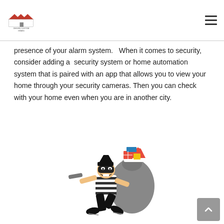[Design Custom Homes logo] [hamburger menu]
presence of your alarm system.   When it comes to security, consider adding a  security system or home automation system that is paired with an app that allows you to view your home through your security cameras. Then you can check with your home even when you are in another city.
[Figure (illustration): Cartoon illustration of a burglar dressed in black and white striped shirt with a black mask, carrying a large gray sack filled with Christmas gifts including a red Santa hat and colorful wrapped presents. The burglar is shown in a crouching/running pose holding something in one hand.]